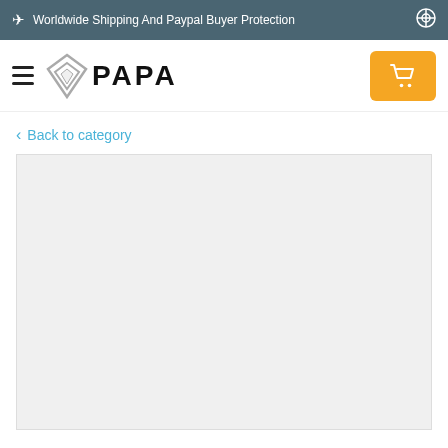✈ Worldwide Shipping And Paypal Buyer Protection
[Figure (logo): PAPA brand logo with diamond-shaped icon and PAPA text]
Back to category
[Figure (other): Empty grey content/product image area]